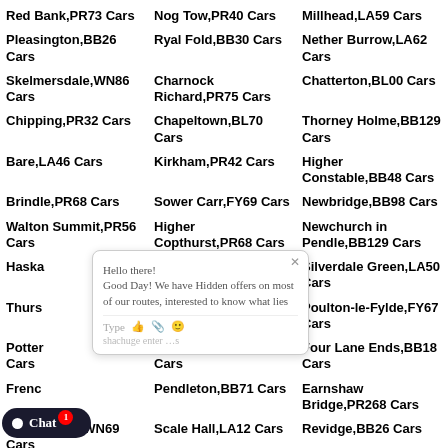Red Bank,PR73 Cars
Nog Tow,PR40 Cars
Millhead,LA59 Cars
Pleasington,BB26 Cars
Ryal Fold,BB30 Cars
Nether Burrow,LA62 Cars
Skelmersdale,WN86 Cars
Charnock Richard,PR75 Cars
Chatterton,BL00 Cars
Chipping,PR32 Cars
Chapeltown,BL70 Cars
Thorney Holme,BB129 Cars
Bare,LA46 Cars
Kirkham,PR42 Cars
Higher Constable,BB48 Cars
Brindle,PR68 Cars
Sower Carr,FY69 Cars
Newbridge,BB98 Cars
Walton Summit,PR56 Cars
Higher Copthurst,PR68 Cars
Newchurch in Pendle,BB129 Cars
Haskayneneed Cars
Limbrick,PR69 Cars
Silverdale Green,LA50 Cars
Thursden Cars
Longshoot,BB46 Cars
Poulton-le-Fylde,FY67 Cars
Potter Cars
Lane Heads,PR30 Cars
Four Lane Ends,BB18 Cars
French Cars
Pendleton,BB71 Cars
Earnshaw Bridge,PR268 Cars
Robin Hood,WN69 Cars
Scale Hall,LA12 Cars
Revidge,BB26 Cars